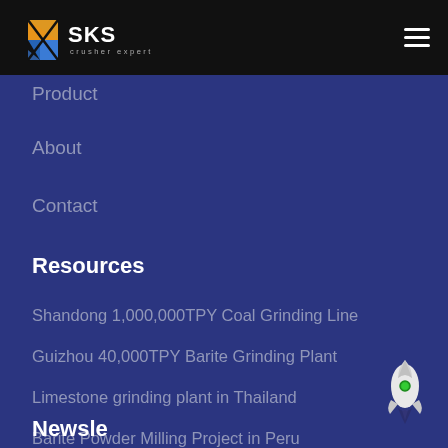[Figure (logo): SKS Crusher Expert logo with geometric icon in orange and blue on black header bar]
Product
About
Contact
Resources
Shandong 1,000,000TPY Coal Grinding Line
Guizhou 40,000TPY Barite Grinding Plant
Limestone grinding plant in Thailand
Barite Powder Milling Project in Peru
Newsletter